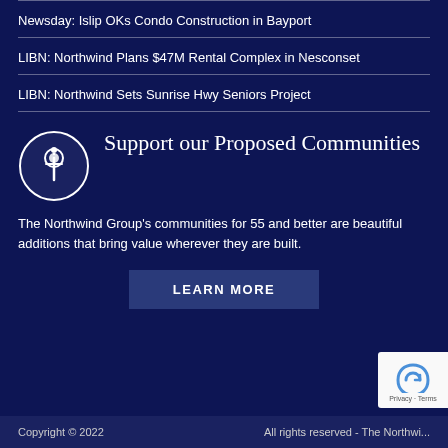Newsday: Islip OKs Condo Construction in Bayport
LIBN: Northwind Plans $47M Rental Complex in Nesconset
LIBN: Northwind Sets Sunrise Hwy Seniors Project
Support our Proposed Communities
The Northwind Group's communities for 55 and better are beautiful additions that bring value wherever they are built.
LEARN MORE
Copyright © 2022    All rights reserved - The Northwind